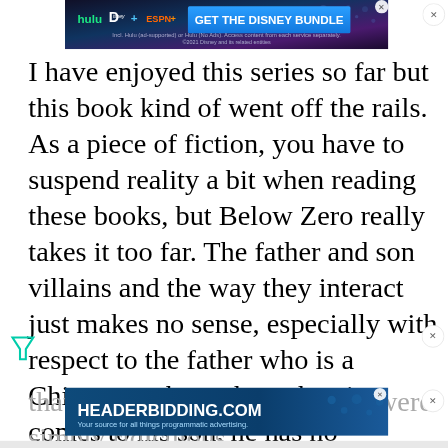[Figure (screenshot): Disney Bundle advertisement banner (Hulu, Disney+, ESPN+) with 'GET THE DISNEY BUNDLE' call to action and fine print about ad-supported or no-ads Hulu access.]
I have enjoyed this series so far but this book kind of went off the rails. As a piece of fiction, you have to suspend reality a bit when reading these books, but Below Zero really takes it too far. The father and son villains and the way they interact just makes no sense, especially with respect to the father who is a Chicago mobster, but when it comes to his son, he has no backbone whatsoever. A sign of a good book is that you become engrossed in the characters and their personalities. In this case the father/son duo were so unbelievable that I constantly found myself thinking
that their dialogue and actions were simply ridiculous.
[Figure (screenshot): HeaderBidding.com advertisement banner. 'Your source for all things programmatic advertising.']
[Figure (infographic): Social media sharing bar with icons for Facebook, Twitter, LinkedIn, Pinterest, email, MW, and other social/share buttons.]